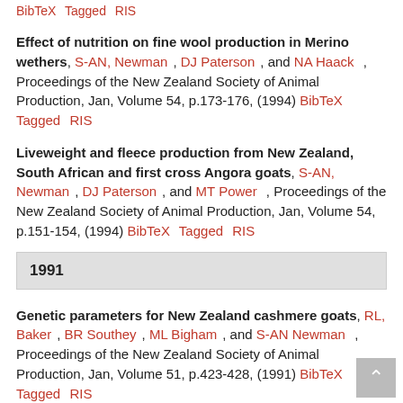BibTeX  Tagged  RIS
Effect of nutrition on fine wool production in Merino wethers, S-AN, Newman, DJ Paterson, and NA Haack , Proceedings of the New Zealand Society of Animal Production, Jan, Volume 54, p.173-176, (1994) BibTeX  Tagged  RIS
Liveweight and fleece production from New Zealand, South African and first cross Angora goats, S-AN, Newman, DJ Paterson, and MT Power , Proceedings of the New Zealand Society of Animal Production, Jan, Volume 54, p.151-154, (1994) BibTeX  Tagged  RIS
1991
Genetic parameters for New Zealand cashmere goats, RL, Baker, BR Southey, ML Bigham, and S-AN Newman , Proceedings of the New Zealand Society of Animal Production, Jan, Volume 51, p.423-428, (1991) BibTeX  Tagged  RIS
Lamb and hogget wool production from crosses of new and traditional sheep breeds, S-AN, Newman, and DJ Paterson , Proceedings of the New Zealand Society of Animal Production, Jan, Volume...